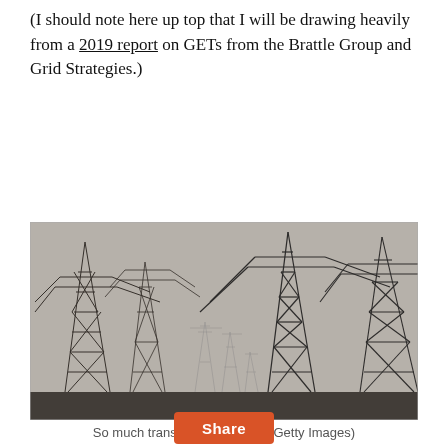(I should note here up top that I will be drawing heavily from a 2019 report on GETs from the Brattle Group and Grid Strategies.)
[Figure (photo): Black and white photograph of numerous large electrical transmission towers (pylons) against a hazy grey sky, receding into the distance.]
So much transmission. (Photo: Getty Images)